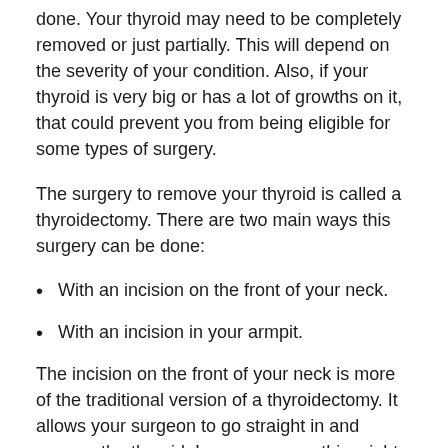done. Your thyroid may need to be completely removed or just partially. This will depend on the severity of your condition. Also, if your thyroid is very big or has a lot of growths on it, that could prevent you from being eligible for some types of surgery.
The surgery to remove your thyroid is called a thyroidectomy. There are two main ways this surgery can be done:
With an incision on the front of your neck.
With an incision in your armpit.
The incision on the front of your neck is more of the traditional version of a thyroidectomy. It allows your surgeon to go straight in and remove the thyroid. In many cases, this might be your best option. You may need this approach if your thyroid is particularly big or has a lot of larger nodules.